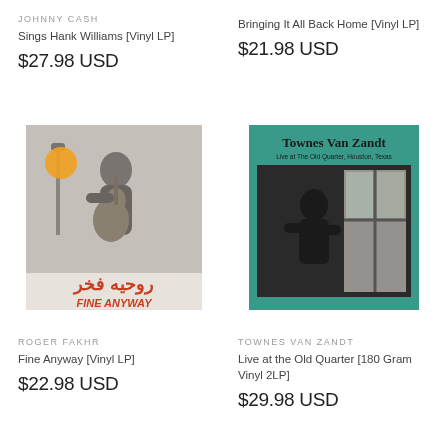JOHNNY CASH
Sings Hank Williams [Vinyl LP]
$27.98 USD
Bringing It All Back Home [Vinyl LP]
$21.98 USD
[Figure (photo): Album cover for Roger Fakhr - Fine Anyway. Black and white photo of a man playing guitar in a studio, with Arabic script text and 'FINE ANYWAY' in orange at the bottom.]
[Figure (photo): Album cover for Townes Van Zandt - Live at the Old Quarter. Teal/green border with artist name in large bold text, subtitle 'Live at The Old Quarter, Houston, Texas', and a black and white photo of a person near a window.]
ROGER FAKHR
Fine Anyway [Vinyl LP]
$22.98 USD
TOWNES VAN ZANDT
Live at the Old Quarter [180 Gram Vinyl 2LP]
$29.98 USD